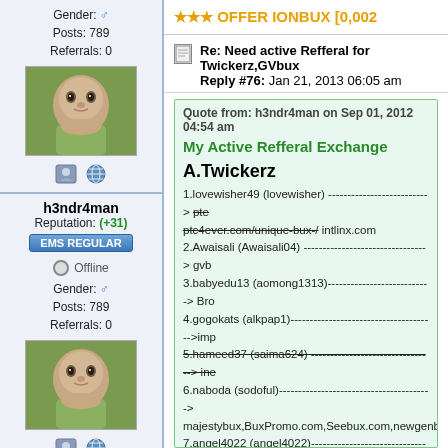Gender: ♂ Posts: 789 Referrals: 0
[Figure (photo): Baby photo - infant looking upward on green background]
[Figure (illustration): Small forum icons - profile and globe]
h3ndr4man
Reputation: (+31)
EMS REGULAR
Offline
Gender: ♂ Posts: 789 Referrals: 0
[Figure (photo): Baby photo - infant looking upward on green background]
[Figure (illustration): Small forum icons - profile and globe]
★★★ OFFER IONBUX [0,002...
Re: Need active Refferal for Twickerz,GVbux... Reply #76: Jan 21, 2013 06:05 am
Quote from: h3ndr4man on Sep 01, 2012 04:54 am
My Active Refferal Exchange
A.Twickerz
1.lovewisher49 (lovewisher) ---------------------------> ptc4ever.com/unique-bux-/ intlinx.com
2.Awaisali (Awaisali04) ---------------------------------> gvb
3.babyedu13 (aomong1313)----------------------------> Bro
4.gogokats (alkpap1)-------------------------------------->imp
5.hameed37 (saima624) ---------------------------------> ine
6.naboda (sodoful)----------------------------------------> majestybux,BuxPromo.com,Seebux.com,newgenbux...
7.angel4022 (angel4022)---------------------------------> doll
8.Pending Join (atul2099)--------------------------------> bux
9.saoaddict (SAOaddict) --------------------------------> mil
10.stvad (swantillydrop)---------------------------------> zaf